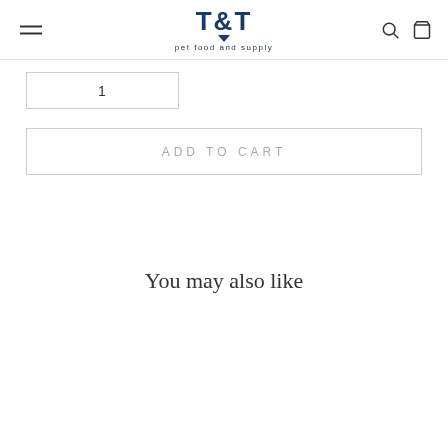T&T pet food and supply
1
ADD TO CART
You may also like